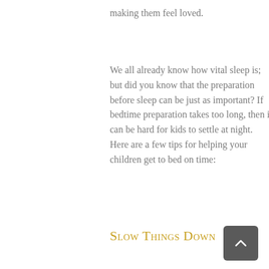making them feel loved.
We all already know how vital sleep is; but did you know that the preparation before sleep can be just as important? If bedtime preparation takes too long, then it can be hard for kids to settle at night. Here are a few tips for helping your children get to bed on time:
Slow Things Down